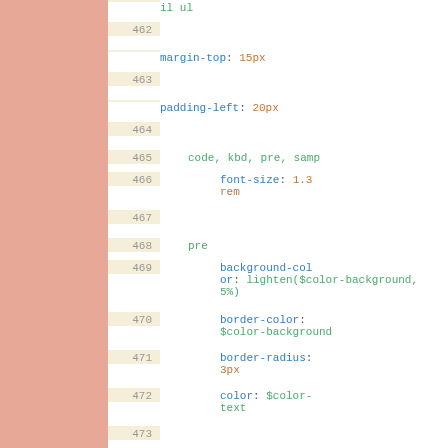Code snippet showing CSS/SCSS lines 462-477 including margin-top, padding-left, code/kbd/pre/samp font-size, pre background-color, border-color, border-radius, color, comment, margin left, right properties.